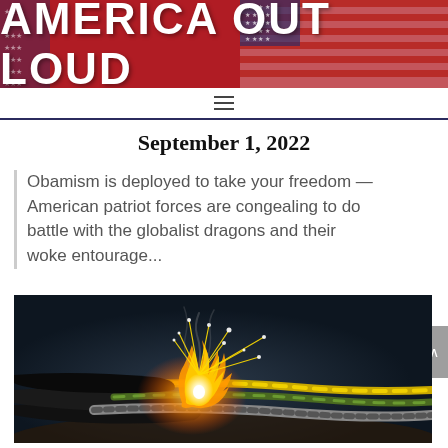AMERICA OUT LOUD
September 1, 2022
Obamism is deployed to take your freedom — American patriot forces are congealing to do battle with the globalist dragons and their woke entourage...
[Figure (photo): Close-up photo of electrical cables/wires with sparks and flames shooting from them against a dark background]